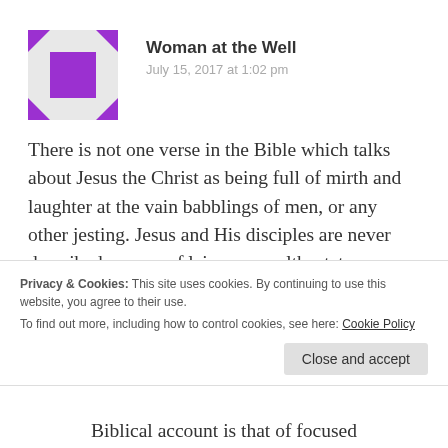[Figure (logo): Purple square with triangular corner arrows forming a frame, purple color scheme on white/gray background]
Woman at the Well
July 15, 2017 at 1:02 pm
There is not one verse in the Bible which talks about Jesus the Christ as being full of mirth and laughter at the vain babblings of men, or any other jesting. Jesus and His disciples are never described as men of leisure , wealth, status, or spending time “partying”. There is no mention of such things in
Privacy & Cookies: This site uses cookies. By continuing to use this website, you agree to their use.
To find out more, including how to control cookies, see here: Cookie Policy
Close and accept
Biblical account is that of focused